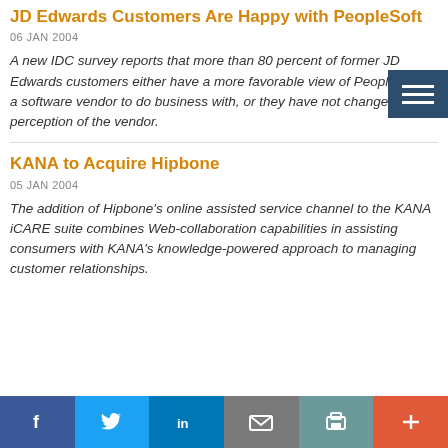JD Edwards Customers Are Happy with PeopleSoft
06 JAN 2004
A new IDC survey reports that more than 80 percent of former JD Edwards customers either have a more favorable view of PeopleSoft as a software vendor to do business with, or they have not changed their perception of the vendor.
KANA to Acquire Hipbone
05 JAN 2004
The addition of Hipbone's online assisted service channel to the KANA iCARE suite combines Web-collaboration capabilities in assisting consumers with KANA's knowledge-powered approach to managing customer relationships.